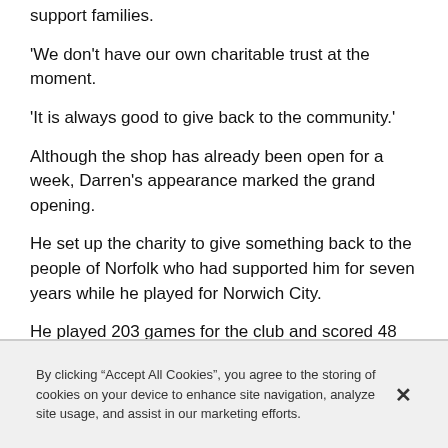support families.
'We don't have our own charitable trust at the moment.
'It is always good to give back to the community.'
Although the shop has already been open for a week, Darren's appearance marked the grand opening.
He set up the charity to give something back to the people of Norfolk who had supported him for seven years while he played for Norwich City.
He played 203 games for the club and scored 48 goals.
He was twice named player of the year and voted into the Norwich City Hall of Fame.
By clicking "Accept All Cookies", you agree to the storing of cookies on your device to enhance site navigation, analyze site usage, and assist in our marketing efforts.